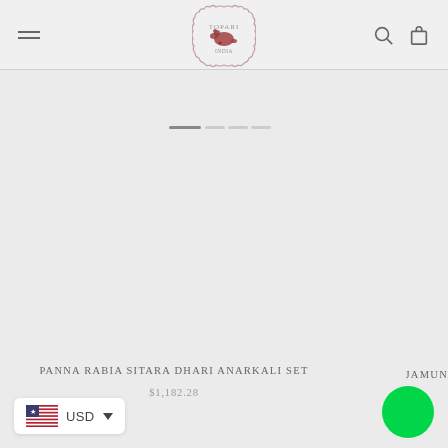[Figure (logo): Topari brand logo in a scalloped circle border with a bear illustration in dark red]
[Figure (illustration): Progress/carousel bar with one darker segment at the left and lighter segments to the right]
PANNA RABIA SITARA DHARI ANARKALI SET
$1,182.28
JAMUN
[Figure (illustration): US flag icon with USD currency selector dropdown]
[Figure (illustration): Green circular chat/support button]